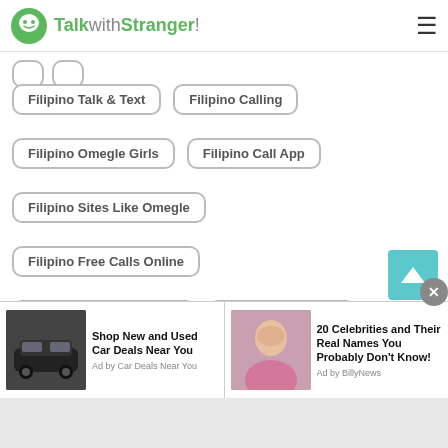TalkwithStranger!
Filipino Talk & Text
Filipino Calling
Filipino Omegle Girls
Filipino Call App
Filipino Sites Like Omegle
Filipino Free Calls Online
Filipino Free Wifi Calling
Filipino Text & Call
Filipino Omegle Chat
Filipino Free Calls Online
Filipino Free Text App
[Figure (screenshot): Ad banner with two ads: 'Shop New and Used Car Deals Near You' (Ad by Car Deals Near You) and '20 Celebrities and Their Real Names You Probably Don't Know!' (Ad by BillyNews)]